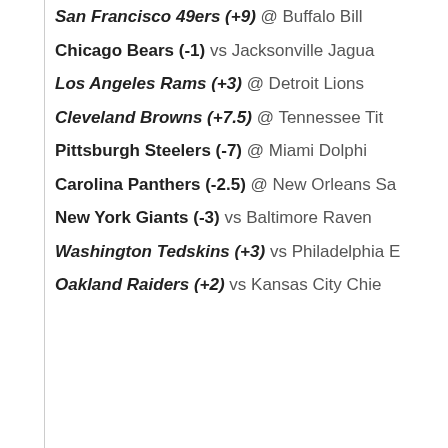San Francisco 49ers (+9) @ Buffalo Bills
Chicago Bears (-1) vs Jacksonville Jaguars
Los Angeles Rams (+3) @ Detroit Lions
Cleveland Browns (+7.5) @ Tennessee Titans
Pittsburgh Steelers (-7) @ Miami Dolphins
Carolina Panthers (-2.5) @ New Orleans Saints
New York Giants (-3) vs Baltimore Ravens
Washington Tedskins (+3) vs Philadelphia Eagles
Oakland Raiders (+2) vs Kansas City Chiefs